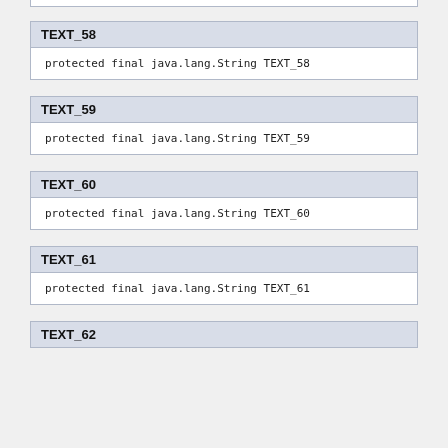TEXT_58
protected final java.lang.String TEXT_58
TEXT_59
protected final java.lang.String TEXT_59
TEXT_60
protected final java.lang.String TEXT_60
TEXT_61
protected final java.lang.String TEXT_61
TEXT_62